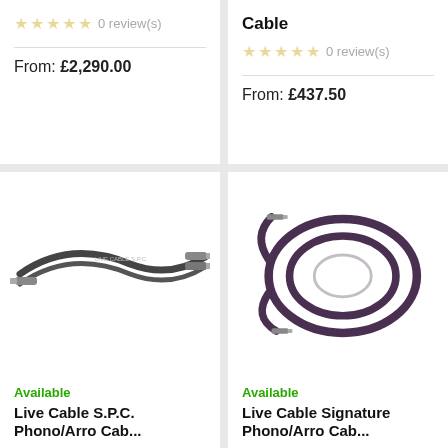0 review(s)
From: £2,290.00
0 review(s)
From: £437.50
[Figure (photo): Photo of Live Cable S.P.C. audio cable with silver connectors on dark cable]
Available
Live Cable S.P.C. Phono/..
[Figure (photo): Photo of Live Cable Signature audio cable, purple/dark coiled cable with small connectors]
Available
Live Cable Signature Phono/..